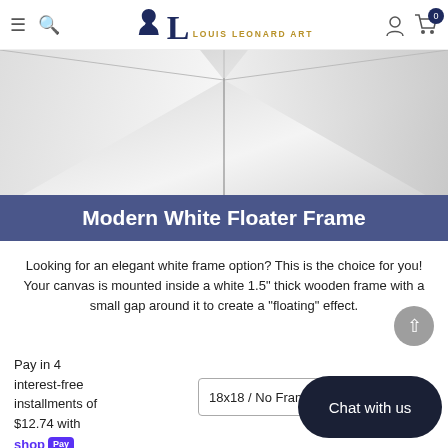Louis Leonard Art navigation bar with menu, search, logo, account, and cart icons
[Figure (photo): Close-up photo of a white floater frame corner showing the mitered joint and floating gap effect]
Modern White Floater Frame
Looking for an elegant white frame option? This is the choice for you! Your canvas is mounted inside a white 1.5" thick wooden frame with a small gap around it to create a "floating" effect.
Pay in 4 interest-free installments of $12.74 with shop Pay Learn more
18x18 / No Frame -
Chat with us